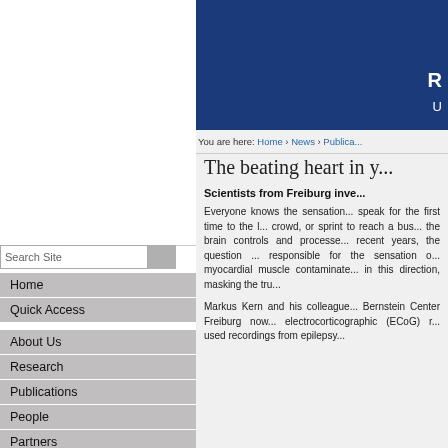[Figure (screenshot): University website header with dark blue banner, partially visible]
You are here: Home › News › Publica...
The beating heart in y...
Scientists from Freiburg inve...
Everyone knows the sensation... speak for the first time to the l... crowd, or sprint to reach a bus... the brain controls and processe... recent years, the question ... responsible for the sensation o... myocardial muscle contaminate... in this direction, masking the tru...
Markus Kern and his colleague... Bernstein Center Freiburg now... electrocorticographic (ECoG) r... used recordings from epilepsy...
Home
Quick Access
About Us
Research
Publications
People
Partners
Outreach
Talks & Events